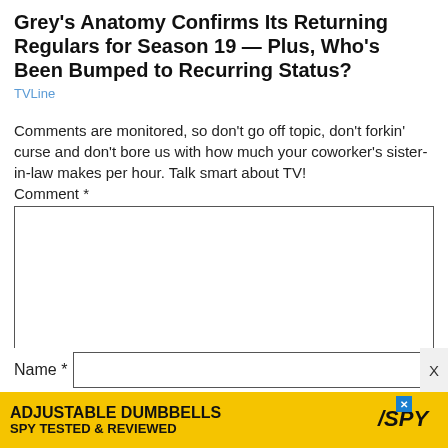Grey's Anatomy Confirms Its Returning Regulars for Season 19 — Plus, Who's Been Bumped to Recurring Status?
TVLine
Comments are monitored, so don't go off topic, don't forkin' curse and don't bore us with how much your coworker's sister-in-law makes per hour. Talk smart about TV!
Comment *
[Figure (screenshot): Empty comment text area input box]
Name *
[Figure (screenshot): Advertisement banner: ADJUSTABLE DUMBBELLS SPY TESTED & REVIEWED with SPY logo on yellow background]